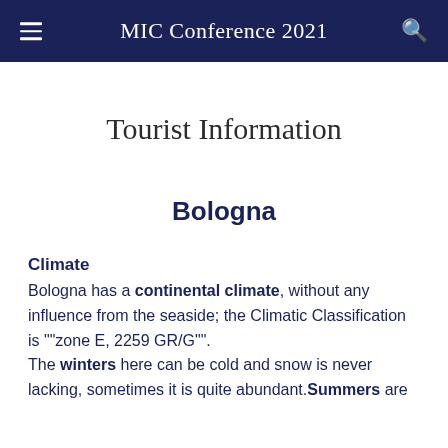MIC Conference 2021
Tourist Information
Bologna
Climate
Bologna has a continental climate, without any influence from the seaside; the Climatic Classification is ""zone E, 2259 GR/G"". The winters here can be cold and snow is never lacking, sometimes it is quite abundant. Summers are